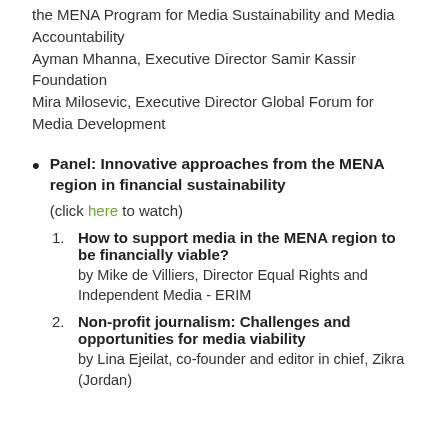the MENA Program for Media Sustainability and Media Accountability
Ayman Mhanna, Executive Director Samir Kassir Foundation
Mira Milosevic, Executive Director Global Forum for Media Development
Panel: Innovative approaches from the MENA region in financial sustainability
(click here to watch)
1. How to support media in the MENA region to be financially viable?
by Mike de Villiers, Director Equal Rights and Independent Media - ERIM
2. Non-profit journalism: Challenges and opportunities for media viability
by Lina Ejeilat, co-founder and editor in chief, Zikra (Jordan)